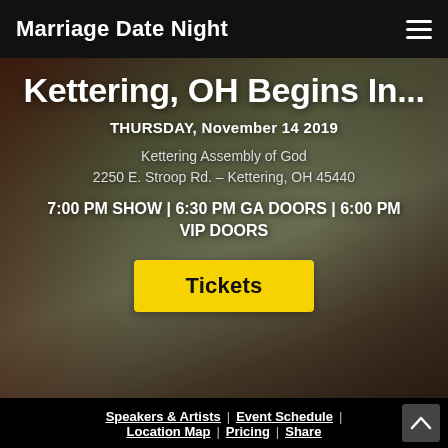Marriage Date Night
Kettering, OH Begins In...
THURSDAY, November 14 2019
Kettering Assembly of God
2250 E. Stroop Rd. – Kettering, OH 45440
7:00 PM SHOW | 6:30 PM GA DOORS | 6:00 PM VIP DOORS
Tickets
Speakers & Artists  |  Event Schedule  |  Location Map  |  Pricing  |  Share